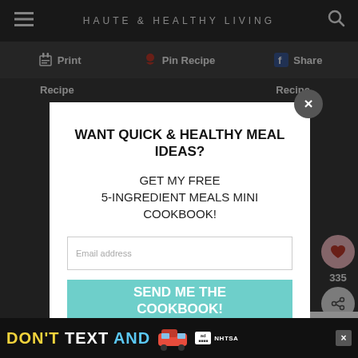HAUTE & HEALTHY LIVING
Print   Pin Recipe   Share
Recipe   Recipe
[Figure (screenshot): Modal popup with email signup form. Title: WANT QUICK & HEALTHY MEAL IDEAS? Subtitle: GET MY FREE 5-INGREDIENT MEALS MINI COOKBOOK! Email address input field and SEND ME THE COOKBOOK! button in teal.]
335
WHAT'S NEXT → Almond, Coconut &...
It's time to talk about Alzheimer's. LEARN MORE Alzheimer's Association
DON'T TEXT AND